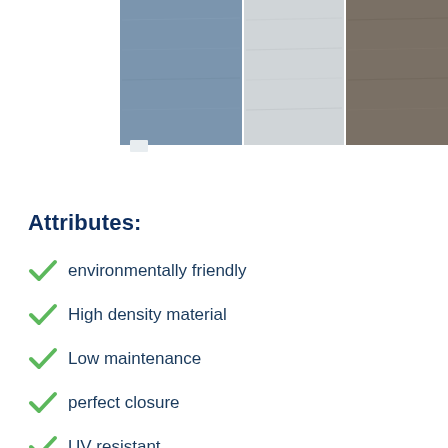[Figure (photo): Color swatches showing three material color options: blue-grey, light grey, and dark grey/brown, partially cropped at the top of the page]
Attributes:
environmentally friendly
High density material
Low maintenance
perfect closure
UV resistant